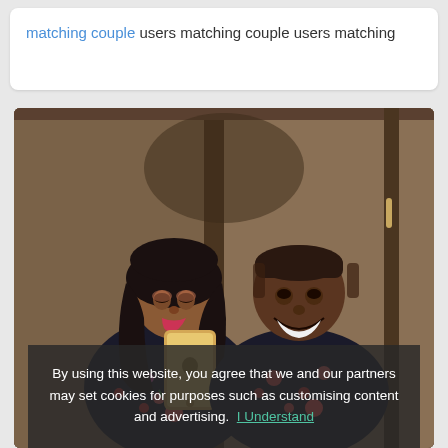matching couple users matching couple users matching
[Figure (photo): A couple taking a mirror selfie. A woman with long dark hair wearing a floral/holiday patterned outfit leans toward a smiling man also wearing a matching patterned outfit. The woman is holding a gold iPhone taking the photo in a mirror.]
By using this website, you agree that we and our partners may set cookies for purposes such as customising content and advertising. I Understand